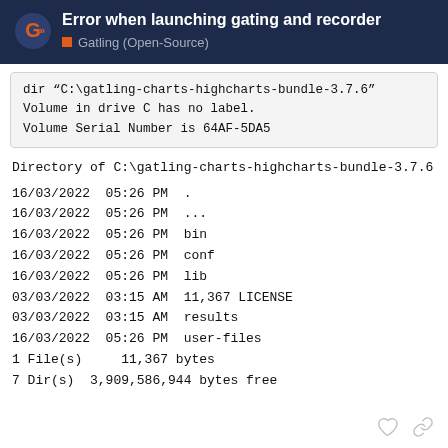Error when launching gating and recorder
Gatling (Open-Source)
dir "C:\gatling-charts-highcharts-bundle-3.7.6"
Volume in drive C has no label.
Volume Serial Number is 64AF-5DA5
Directory of C:\gatling-charts-highcharts-bundle-3.7.6
16/03/2022  05:26 PM  .
16/03/2022  05:26 PM  ...
16/03/2022  05:26 PM  bin
16/03/2022  05:26 PM  conf
16/03/2022  05:26 PM  lib
03/03/2022  03:15 AM  11,367 LICENSE
03/03/2022  03:15 AM  results
16/03/2022  05:26 PM  user-files
1 File(s)     11,367 bytes
7 Dir(s)  3,909,586,944 bytes free